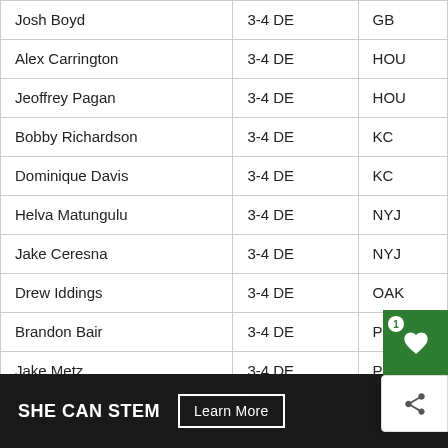| Josh Boyd | 3-4 DE | GB |
| Alex Carrington | 3-4 DE | HOU |
| Jeoffrey Pagan | 3-4 DE | HOU |
| Bobby Richardson | 3-4 DE | KC |
| Dominique Davis | 3-4 DE | KC |
| Helva Matungulu | 3-4 DE | NYJ |
| Jake Ceresna | 3-4 DE | NYJ |
| Drew Iddings | 3-4 DE | OAK |
| Brandon Bair | 3-4 DE | PHI |
| Jake Metz | 3-4 DE | PHI |
| Clifton Geathers | 3-4 DE | PIT |
| Giorgio Newberry | 3-4 DE | PIT |
| B.J. McBryde | 3-4 DE | SF |
[Figure (other): Advertisement banner: SHE CAN STEM with Learn More button]